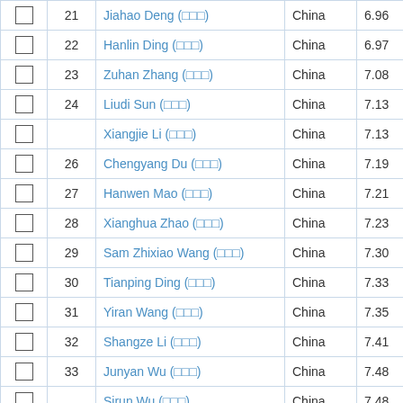|  | # | Name | Country | Score | Institution |
| --- | --- | --- | --- | --- | --- |
| ☐ | 21 | Jiahao Deng (□□□) | China | 6.96 | Chin... |
| ☐ | 22 | Hanlin Ding (□□□) | China | 6.97 | Nanj... |
| ☐ | 23 | Zuhan Zhang (□□□) | China | 7.08 | Shen... |
| ☐ | 24 | Liudi Sun (□□□) | China | 7.13 | Shan... |
| ☐ |  | Xiangjie Li (□□□) | China | 7.13 | Xuzh... |
| ☐ | 26 | Chengyang Du (□□□) | China | 7.19 | Tianj... |
| ☐ | 27 | Hanwen Mao (□□□) | China | 7.21 | Shan... |
| ☐ | 28 | Xianghua Zhao (□□□) | China | 7.23 | Xuzh... |
| ☐ | 29 | Sam Zhixiao Wang (□□□) | China | 7.30 | UK O... |
| ☐ | 30 | Tianping Ding (□□□) | China | 7.33 | Nanj... |
| ☐ | 31 | Yiran Wang (□□□) | China | 7.35 | Chin... |
| ☐ | 32 | Shangze Li (□□□) | China | 7.41 | Xi'an... |
| ☐ | 33 | Junyan Wu (□□□) | China | 7.48 | Nanj... |
| ☐ |  | Sirun Wu (□□□) | China | 7.48 | Shen... |
| ☐ | 35 | Linxiao Xu (□□□) | China | 7.53 | Beiji... |